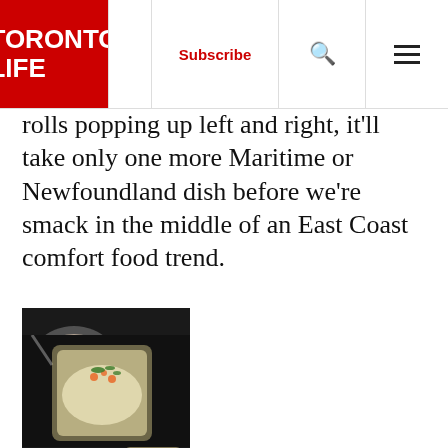TORONTO LIFE — Subscribe | Search | Menu
rolls popping up left and right, it'll take only one more Maritime or Newfoundland dish before we're smack in the middle of an East Coast comfort food trend.
[Figure (photo): Two food dishes photographed from above on a dark background: a round bowl with a pizza or flatbread with tomatoes and mushrooms, and a small glass jar filled with a creamy salad topped with herbs.]
[Figure (photo): Close-up of a small glass jar filled with a creamy seafood or grain salad topped with orange roe and green herbs, on a dark background.]